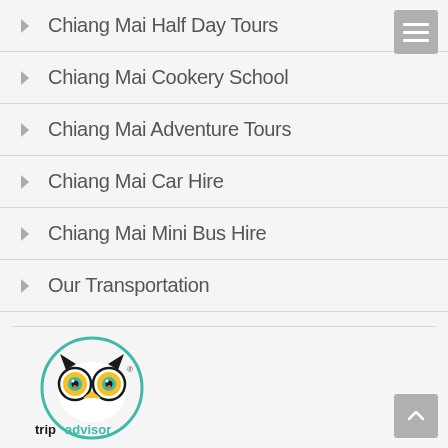Chiang Mai Half Day Tours
Chiang Mai Cookery School
Chiang Mai Adventure Tours
Chiang Mai Car Hire
Chiang Mai Mini Bus Hire
Our Transportation
[Figure (logo): TripAdvisor logo inside a teal circle, showing the owl mascot with yellow beak, the text 'tripadvisor' in black and green]